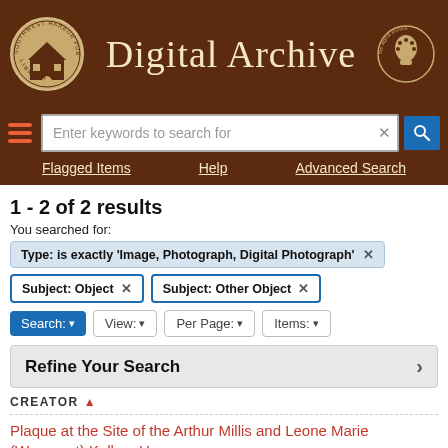[Figure (screenshot): Southwest Harbor Public Library logo — circular seal with building illustration]
Digital Archive
[Figure (logo): The Digital Archive lightbulb logo]
[Figure (screenshot): Search bar with placeholder 'Enter keywords to search for' and magnifying glass button]
Flagged Items   Help   Advanced Search
1 - 2 of 2 results
You searched for:
Type: is exactly 'Image, Photograph, Digital Photograph' ×
Subject: Object ×
Subject: Other Object ×
Search: ▾  View: ▾  Per Page: ▾  Items: ▾
Refine Your Search
CREATOR ▲
Plaque at the Site of the Arthur Millis and Leone Marie (Wemmert) Kellam Home
[Figure (photo): Partial thumbnail of a photograph showing greenery/foliage]